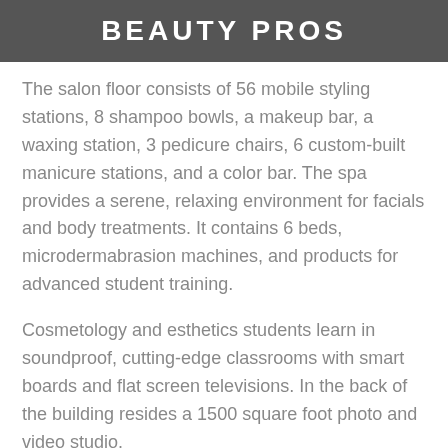BEAUTY PROS
The salon floor consists of 56 mobile styling stations, 8 shampoo bowls, a makeup bar, a waxing station, 3 pedicure chairs, 6 custom-built manicure stations, and a color bar. The spa provides a serene, relaxing environment for facials and body treatments. It contains 6 beds, microdermabrasion machines, and products for advanced student training.
Cosmetology and esthetics students learn in soundproof, cutting-edge classrooms with smart boards and flat screen televisions. In the back of the building resides a 1500 square foot photo and video studio.
Advantages